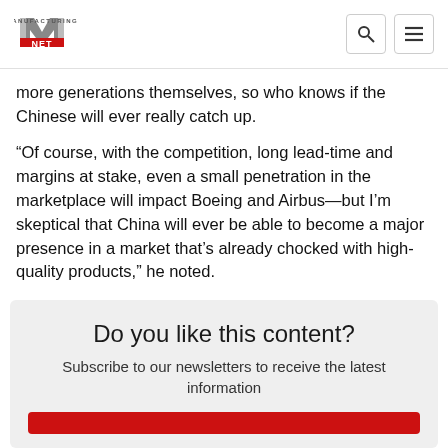Manufacturing.net
more generations themselves, so who knows if the Chinese will ever really catch up.
“Of course, with the competition, long lead-time and margins at stake, even a small penetration in the marketplace will impact Boeing and Airbus—but I’m skeptical that China will ever be able to become a major presence in a market that’s already chocked with high-quality products,” he noted.
Do you like this content?
Subscribe to our newsletters to receive the latest information